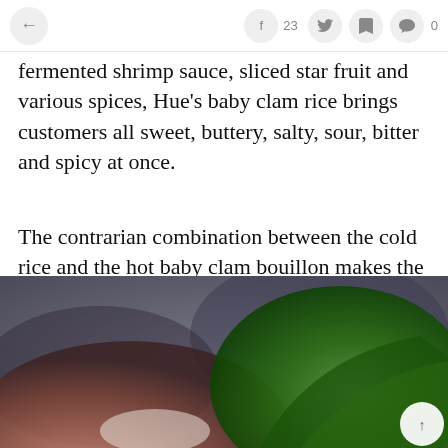← f 23 (twitter) (bookmark) ● 0
fermented shrimp sauce, sliced star fruit and various spices, Hue's baby clam rice brings customers all sweet, buttery, salty, sour, bitter and spicy at once.
The contrarian combination between the cold rice and the hot baby clam bouillon makes the dish a bit weird, meanwhile the pickled fruits and vegetables go perfectly with the fat of dried pork fat. It is tempting to enjoy a savory bow of Hue's baby clam rice.
[Figure (photo): Close-up photo showing a hand near a white bowl and green leafy herb/vegetable on a dark blurred background.]